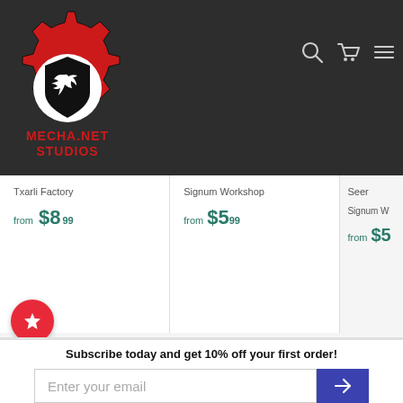[Figure (logo): Mecha.Net Studios logo: red gear with black shield and white bird/raven, with red stylized text MECHA.NET STUDIOS below]
Txarli Factory
from $8.99
Signum Workshop
from $5.99
Seer
Signum W...
from $5
Subscribe today and get 10% off your first order!
Enter your email